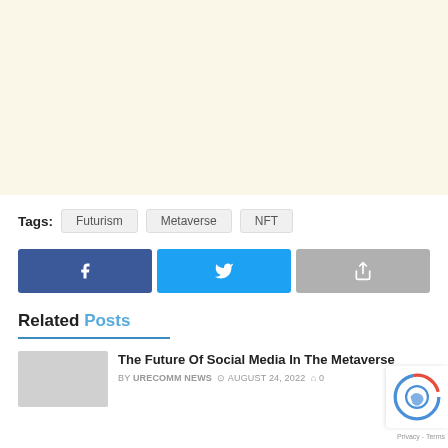[Figure (other): Advertisement banner area with cream/beige background]
Tags: Futurism Metaverse NFT
[Figure (other): Social share buttons: Facebook, Twitter, Share]
Related Posts
The Future Of Social Media In The Metaverse
BY URECOMM NEWS  AUGUST 24, 2022  0